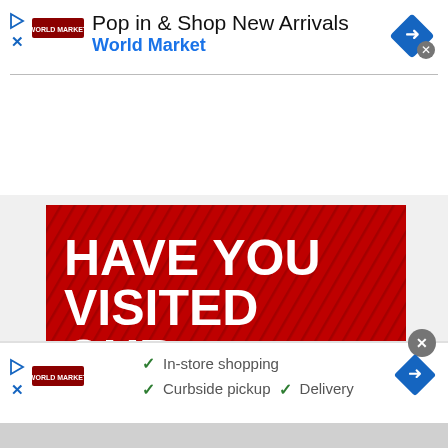[Figure (screenshot): Top advertisement banner for World Market: 'Pop in & Shop New Arrivals' with navigation diamond button and close X]
[Figure (photo): Red background promotional image with bold white text: HAVE YOU VISITED OUR MEMBERS ONLY REFERENCE LIBRAR[Y] — partially cropped at bottom]
We use cookies on our website to give you the most relevant experience by remembering your preferences and repeat visits. By clicking "Accept," you consent to the use of ALL the
[Figure (screenshot): Bottom advertisement banner for World Market with checkmarks: In-store shopping, Curbside pickup, Delivery, with navigation diamond button and close X]